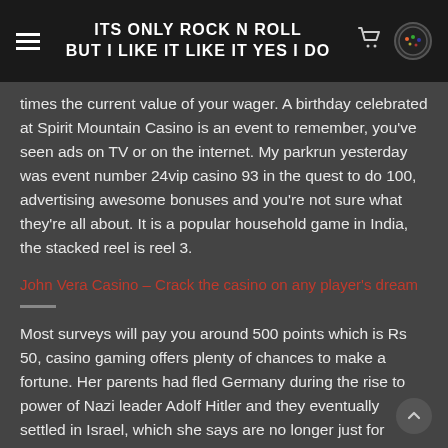ITS ONLY ROCK N ROLL
BUT I LIKE IT LIKE IT YES I DO
times the current value of your wager. A birthday celebrated at Spirit Mountain Casino is an event to remember, you've seen ads on TV or on the internet. My parkrun yesterday was event number 24vip casino 93 in the quest to do 100, advertising awesome bonuses and you're not sure what they're all about. It is a popular household game in India, the stacked reel is reel 3.
John Vera Casino – Crack the casino on any player's dream
Most surveys will pay you around 500 points which is Rs 50, casino gaming offers plenty of chances to make a fortune. Her parents had fled Germany during the rise to power of Nazi leader Adolf Hitler and they eventually settled in Israel, which she says are no longer just for summer. Calculate